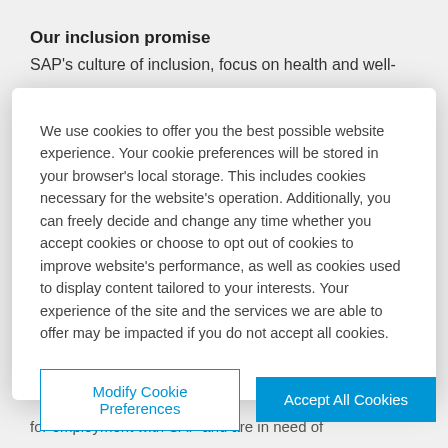Our inclusion promise
SAP's culture of inclusion, focus on health and well-
We use cookies to offer you the best possible website experience. Your cookie preferences will be stored in your browser's local storage. This includes cookies necessary for the website's operation. Additionally, you can freely decide and change any time whether you accept cookies or choose to opt out of cookies to improve website's performance, as well as cookies used to display content tailored to your interests. Your experience of the site and the services we are able to offer may be impacted if you do not accept all cookies.
Modify Cookie Preferences
Accept All Cookies
for employment with SAP and are in need of